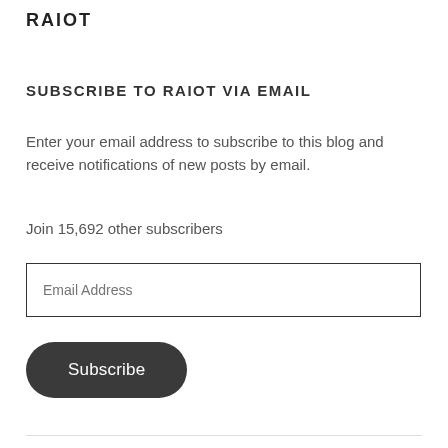RAIOT
SUBSCRIBE TO RAIOT VIA EMAIL
Enter your email address to subscribe to this blog and receive notifications of new posts by email.
Join 15,692 other subscribers